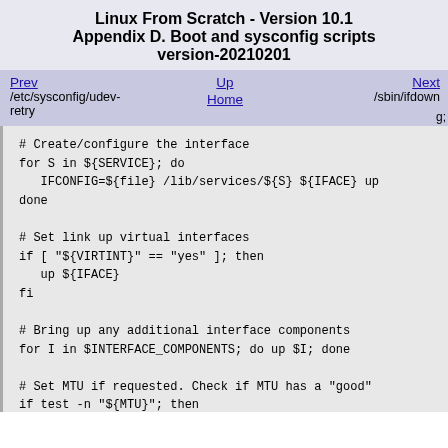Linux From Scratch - Version 10.1
Appendix D. Boot and sysconfig scripts version-20210201
Prev  Up  Next
/etc/sysconfig/udev-retry  Home  /sbin/ifdown  g;
# Create/configure the interface
for S in ${SERVICE}; do
   IFCONFIG=${file} /lib/services/${S} ${IFACE} up
done

# Set link up virtual interfaces
if [ "${VIRTINT}" == "yes" ]; then
   up ${IFACE}
fi

# Bring up any additional interface components
for I in $INTERFACE_COMPONENTS; do up $I; done

# Set MTU if requested. Check if MTU has a "good"
if test -n "${MTU}"; then